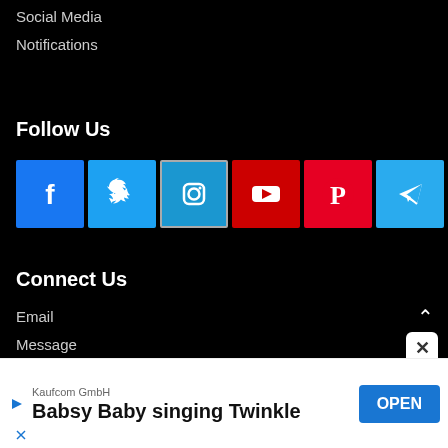Social Media
Notifications
Follow Us
[Figure (screenshot): Row of social media icons: Facebook, Twitter, Instagram, YouTube, Pinterest, Telegram]
Connect Us
Email
Message
[Figure (screenshot): Advertisement banner: Kaufcom GmbH – Babsy Baby singing Twinkle, with OPEN button]